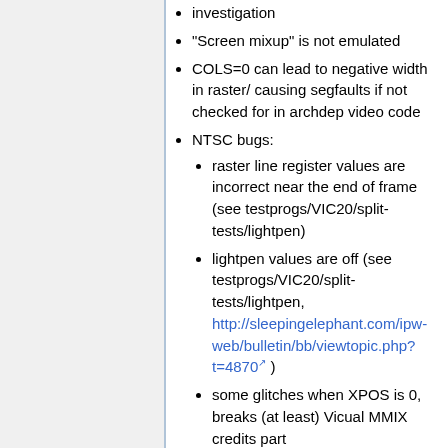investigation
"Screen mixup" is not emulated
COLS=0 can lead to negative width in raster/ causing segfaults if not checked for in archdep video code
NTSC bugs:
raster line register values are incorrect near the end of frame (see testprogs/VIC20/split-tests/lightpen)
lightpen values are off (see testprogs/VIC20/split-tests/lightpen, http://sleepingelephant.com/ipw-web/bulletin/bb/viewtopic.php?t=4870 )
some glitches when XPOS is 0, breaks (at least) Vicual MMIX credits part (http://www.cs.tut.fi/~albert/Pu-